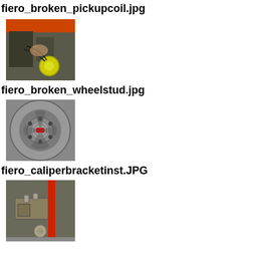fiero_broken_pickupcoil.jpg
[Figure (photo): Close-up photo of a car engine bay area showing a broken pickup coil, with orange bodywork visible at top and a yellow circular component visible.]
fiero_broken_wheelstud.jpg
[Figure (photo): Photo of a Pontiac Fiero wheel/hub showing a broken wheel stud, with a silver alloy wheel and center cap visible.]
fiero_caliperbracketinst.JPG
[Figure (photo): Photo of a Pontiac Fiero brake caliper bracket installation showing brake components with a red structural element visible.]